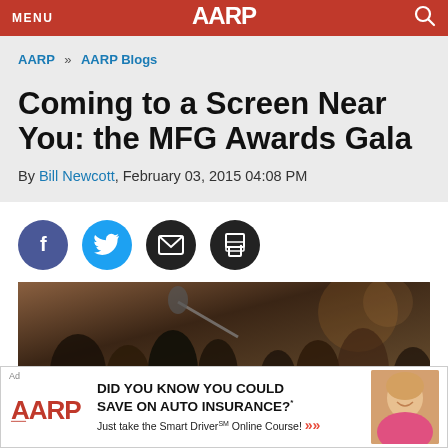MENU  AARP  [search]
AARP » AARP Blogs
Coming to a Screen Near You: the MFG Awards Gala
By Bill Newcott, February 03, 2015 04:08 PM
[Figure (other): Social sharing buttons: Facebook, Twitter, Email, Print]
[Figure (photo): A crowd of people at what appears to be an awards gala event, with camera equipment visible]
[Figure (other): AARP advertisement: DID YOU KNOW YOU COULD SAVE ON AUTO INSURANCE? Just take the Smart Driver Online Course! with photo of smiling woman]